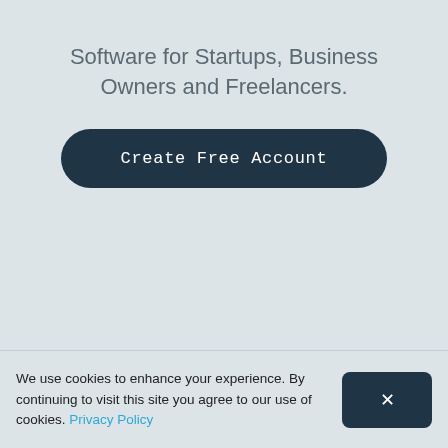Software for Startups, Business Owners and Freelancers.
Create Free Account
We use cookies to enhance your experience. By continuing to visit this site you agree to our use of cookies. Privacy Policy